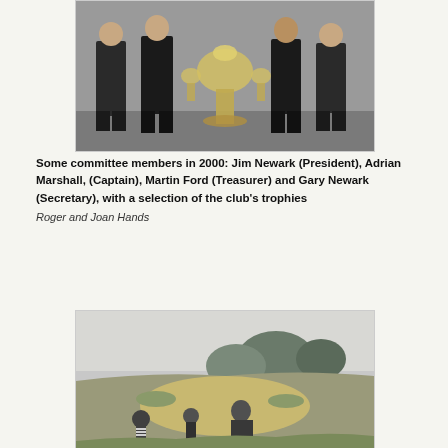[Figure (photo): Black and white photograph of some committee members in 2000 posing with a selection of the club's trophies. Several men in formal attire standing around a trophy display.]
Some committee members in 2000: Jim Newark (President), Adrian Marshall, (Captain), Martin Ford (Treasurer) and Gary Newark (Secretary), with a selection of the club's trophies
Roger and Joan Hands
[Figure (photo): Black and white photograph of a golf course scene showing a sandy area and grassy terrain with trees in the background and figures visible in the lower portion.]